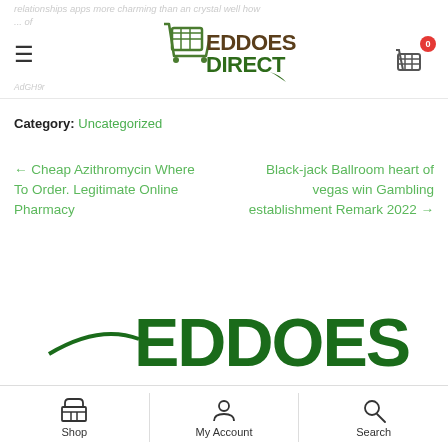relationships apps more charming than an crystal well how...
[Figure (logo): EddoesDirect shopping cart logo with green and brown text]
Category: Uncategorized
← Cheap Azithromycin Where To Order. Legitimate Online Pharmacy
Black-jack Ballroom heart of vegas win Gambling establishment Remark 2022 →
[Figure (logo): Eddoes large green footer logo]
Shop | My Account | Search